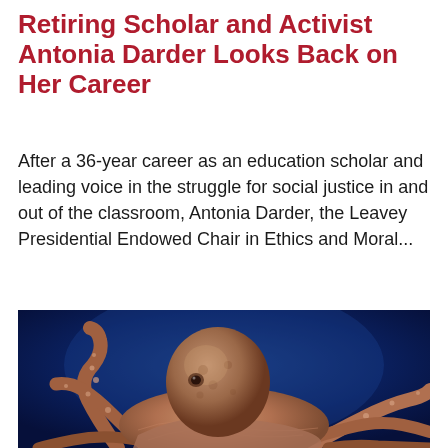Retiring Scholar and Activist Antonia Darder Looks Back on Her Career
After a 36-year career as an education scholar and leading voice in the struggle for social justice in and out of the classroom, Antonia Darder, the Leavey Presidential Endowed Chair in Ethics and Moral...
[Figure (photo): Photograph of an octopus with orange-brown tentacles spread wide against a deep blue background, viewed from below/front.]